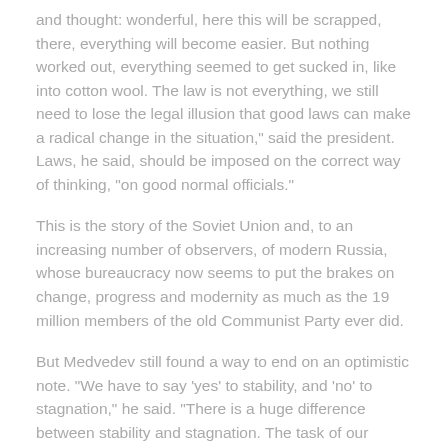and thought: wonderful, here this will be scrapped, there, everything will become easier. But nothing worked out, everything seemed to get sucked in, like into cotton wool. The law is not everything, we still need to lose the legal illusion that good laws can make a radical change in the situation," said the president. Laws, he said, should be imposed on the correct way of thinking, "on good normal officials."
This is the story of the Soviet Union and, to an increasing number of observers, of modern Russia, whose bureaucracy now seems to put the brakes on change, progress and modernity as much as the 19 million members of the old Communist Party ever did.
But Medvedev still found a way to end on an optimistic note. "We have to say 'yes' to stability, and 'no' to stagnation," he said. "There is a huge difference between stability and stagnation. The task of our [United Russia] party is to provide stability, and not let things slide into stagnation, not least because we've already gone through that in a well-known historical period," said